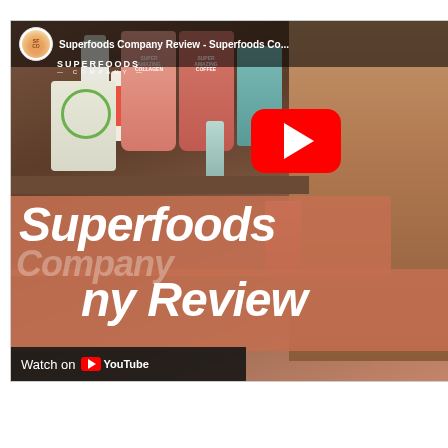[Figure (screenshot): YouTube video thumbnail for 'Superfoods Company Review' showing a smiling woman in a light blue top seated at a table with various Superfoods Company products displayed behind her (supplements, bags, bottles). The thumbnail has salmon/orange text overlays reading 'Superfoods Company Review', a YouTube play button in the center, and a 'Watch on YouTube' badge at the bottom left. The channel logo and title 'Superfoods Company Review - Superfoods Co...' are shown at the top.]